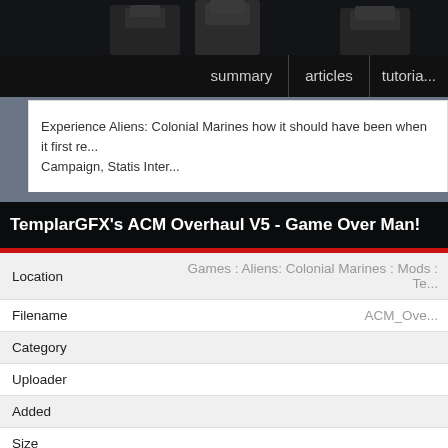[Figure (photo): Dark hero banner image with soldier/marine figures silhouetted against a dark background]
summary | articles | tutoria...
Experience Aliens: Colonial Marines how it should have been when it first re... Campaign, Statis Inter...
TemplarGFX's ACM Overhaul V5 - Game Over Man!
| Field | Value |
| --- | --- |
| Location | Games : Aliens: Colonial Marines : Mods : Te... |
| Filename | ACM_Ove... |
| Category |  |
| Uploader |  |
| Added |  |
| Size |  |
| Downloads |  |
| MD5 Hash | 2f7... |